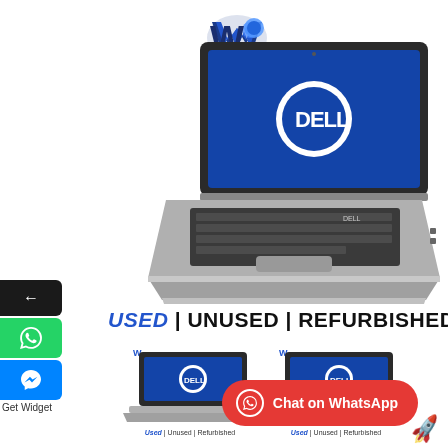[Figure (logo): whynew.in logo - blue W shape with text whynew.in below]
[Figure (photo): Dell laptop open showing blue Dell logo on screen, viewed from front-left angle]
Used | Unused | Refurbished
[Figure (photo): Two smaller thumbnail images of the same Dell laptop with Used|Unused|Refurbished text below each]
Chat on WhatsApp
Get Widget